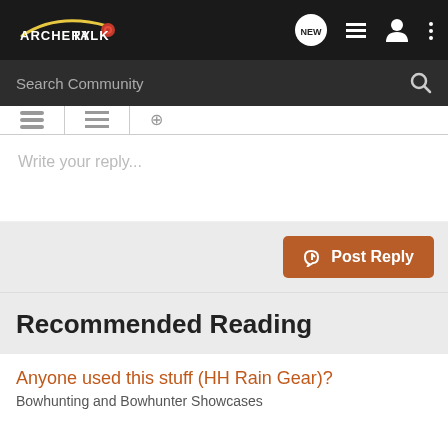[Figure (logo): ArcheryTalk logo with navigation icons (NEW chat bubble, list icon, profile icon, more icon) on dark background]
Search Community
[Figure (screenshot): Partial tab strip with some tab icons visible]
Write your reply...
Post Reply
Recommended Reading
Anyone used this stuff (HH Rain Gear)?
Bowhunting and Bowhunter Showcases